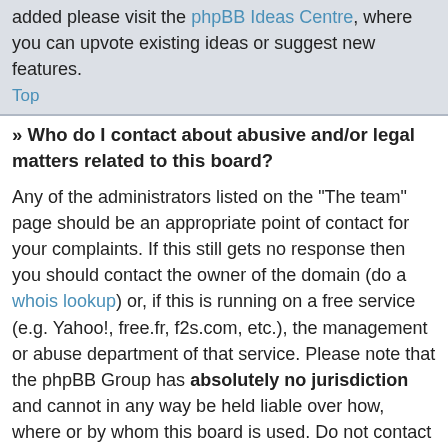added please visit the phpBB Ideas Centre, where you can upvote existing ideas or suggest new features.
Top
» Who do I contact about abusive and/or legal matters related to this board?
Any of the administrators listed on the "The team" page should be an appropriate point of contact for your complaints. If this still gets no response then you should contact the owner of the domain (do a whois lookup) or, if this is running on a free service (e.g. Yahoo!, free.fr, f2s.com, etc.), the management or abuse department of that service. Please note that the phpBB Group has absolutely no jurisdiction and cannot in any way be held liable over how, where or by whom this board is used. Do not contact the phpBB Group in relation to any legal (cease and desist, liable, defamatory comment, etc.) matter not directly related to the phpBB.com